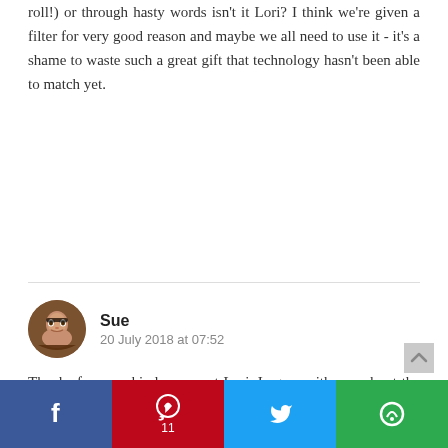roll!) or through hasty words isn't it Lori? I think we're given a filter for very good reason and maybe we all need to use it - it's a shame to waste such a great gift that technology hasn't been able to match yet.
[Figure (photo): Circular avatar photo of commenter Sue, a person with dark hair and glasses]
Sue
20 July 2018 at 07:52
Thanks for your kind comment Lori. I agree with you about the filters though - who would have the ultimate right of veto in determining the filter settings? I occasionally have these conversations with parents who don't want their child to have access to certain words on their communication device, and it's definitely a tricky
Share bar: Facebook, Pinterest (11), Twitter, Su